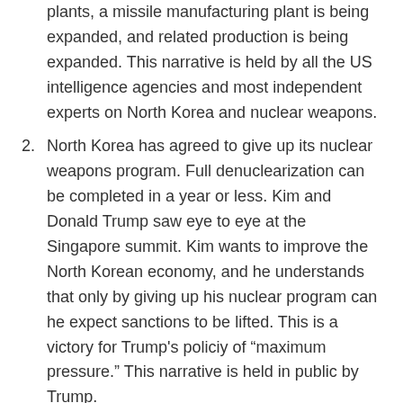plants, a missile manufacturing plant is being expanded, and related production is being expanded. This narrative is held by all the US intelligence agencies and most independent experts on North Korea and nuclear weapons.
2. North Korea has agreed to give up its nuclear weapons program. Full denuclearization can be completed in a year or less. Kim and Donald Trump saw eye to eye at the Singapore summit. Kim wants to improve the North Korean economy, and he understands that only by giving up his nuclear program can he expect sanctions to be lifted. This is a victory for Trump’s policiy of “maximum pressure.” This narrative is held in public by Trump.